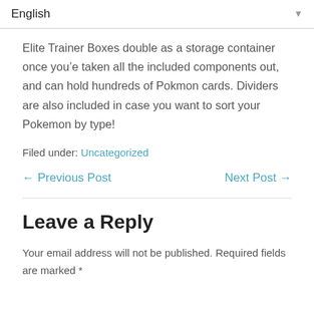English
Elite Trainer Boxes double as a storage container once you’ve taken all the included components out, and can hold hundreds of Pokmon cards. Dividers are also included in case you want to sort your Pokemon by type!
Filed under: Uncategorized
← Previous Post   Next Post →
Leave a Reply
Your email address will not be published. Required fields are marked *